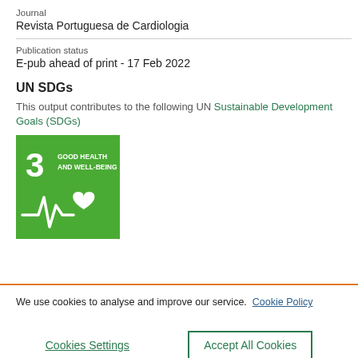Journal
Revista Portuguesa de Cardiologia
Publication status
E-pub ahead of print - 17 Feb 2022
UN SDGs
This output contributes to the following UN Sustainable Development Goals (SDGs)
[Figure (illustration): UN SDG 3 badge: Good Health and Well-Being, green square with number 3, title text, and a heartbeat/health icon in white]
We use cookies to analyse and improve our service. Cookie Policy
Cookies Settings
Accept All Cookies